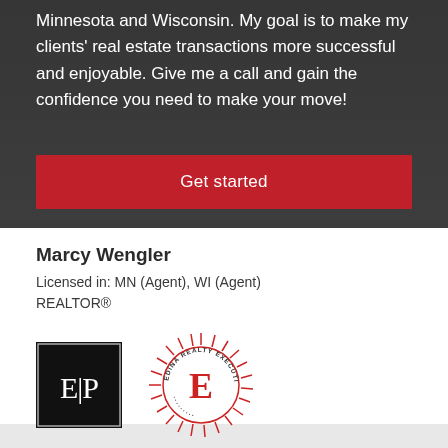Minnesota and Wisconsin. My goal is to make my clients' real estate transactions more successful and enjoyable. Give me a call and gain the confidence you need to make your move!
Get started
Marcy Wengler
Licensed in: MN (Agent), WI (Agent)
REALTOR®
[Figure (logo): Edina Realty E|P square black logo]
[Figure (logo): Edina Realty Executive Circle 2022 circular seal logo]